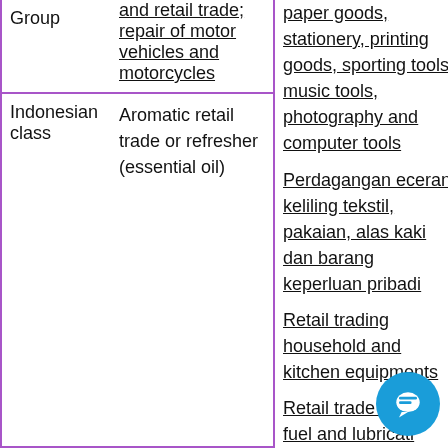|  | Description | Right column items |
| --- | --- | --- |
| Group | and retail trade; repair of motor vehicles and motorcycles | paper goods, stationery, printing goods, sporting tools, music tools, photography and computer tools |
| Indonesian class | Aromatic retail trade or refresher (essential oil) | Perdagangan eceran keliling tekstil, pakaian, alas kaki dan barang keperluan pribadi
Retail trading household and kitchen equipments
Retail trade running fuel and lubricating |